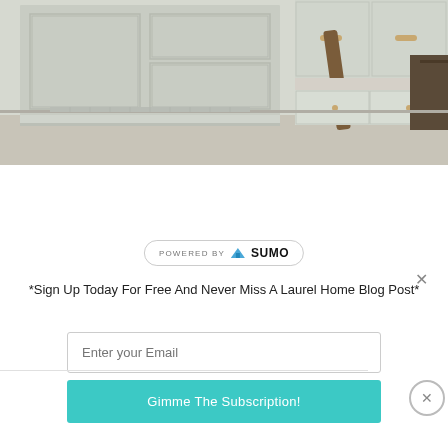[Figure (photo): Kitchen interior photo showing white/sage green cabinetry with paneled doors and brass cup pulls, a wooden chair or stool visible, and what appears to be a kitchen island with drawers]
POWERED BY SUMO
*Sign Up Today For Free And Never Miss A Laurel Home Blog Post*
Enter your Email
Gimme The Subscription!